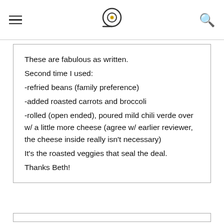These are fabulous as written.
Second time I used:
-refried beans (family preference)
-added roasted carrots and broccoli
-rolled (open ended), poured mild chili verde over w/ a little more cheese (agree w/ earlier reviewer, the cheese inside really isn't necessary)
It's the roasted veggies that seal the deal.
Thanks Beth!